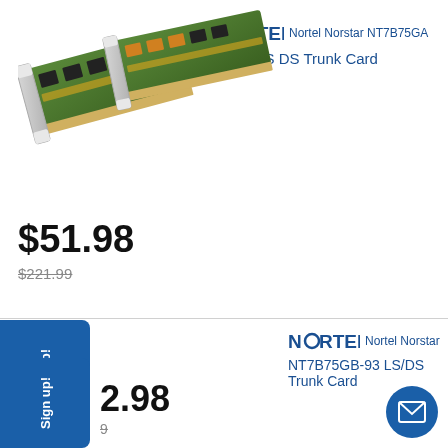[Figure (photo): Nortel Norstar NT7B75GA 4 Port LS DS Trunk Card circuit board photo]
NORTEL Nortel Norstar NT7B75GA 4 Port LS DS Trunk Card
$51.98
$221.99
[Figure (photo): Nortel Norstar NT7B75GB-93 LS/DS Trunk Card circuit board photo]
NORTEL Nortel Norstar NT7B75GB-93 LS/DS Trunk Card
$2.98
$221.99